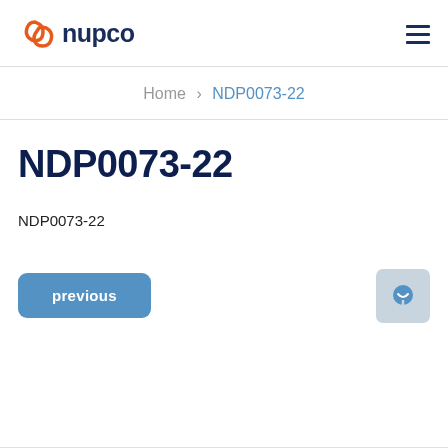nupco [logo] | hamburger menu
Home › NDP0073-22
NDP0073-22
NDP0073-22
previous